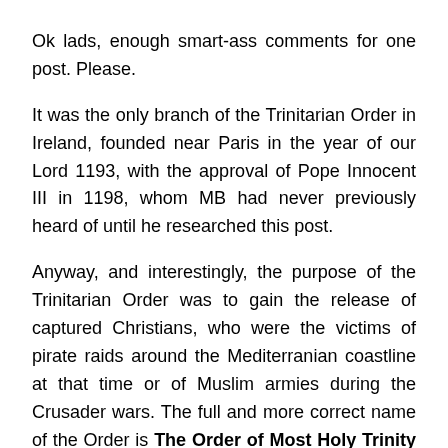Ok lads, enough smart-ass comments for one post. Please.
It was the only branch of the Trinitarian Order in Ireland, founded near Paris in the year of our Lord 1193, with the approval of Pope Innocent III in 1198, whom MB had never previously heard of until he researched this post.
Anyway, and interestingly, the purpose of the Trinitarian Order was to gain the release of captured Christians, who were the victims of pirate raids around the Mediterranian coastline at that time or of Muslim armies during the Crusader wars. The full and more correct name of the Order is The Order of Most Holy Trinity and of the Captives. The Order continues to this day, working amongst oppressed communities in particular.